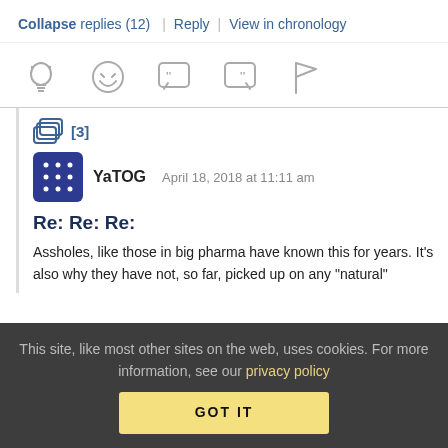Collapse replies (12) | Reply | View in chronology
[Figure (infographic): Row of 5 action icons: lightbulb, laughing emoji, quote bubble left, quote bubble right, flag]
[3]
YaTOG   April 18, 2018 at 11:11 am
Re: Re: Re:
Assholes, like those in big pharma have known this for years. It's also why they have not, so far, picked up on any “natural”
This site, like most other sites on the web, uses cookies. For more information, see our privacy policy
GOT IT